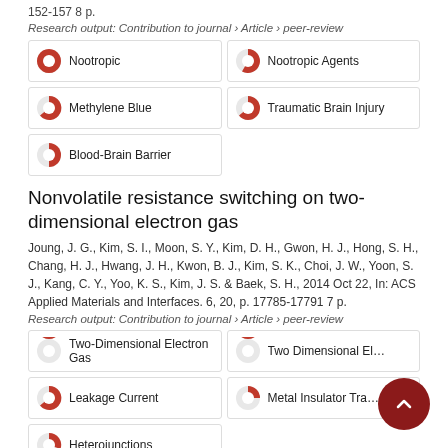152-157 8 p.
Research output: Contribution to journal › Article › peer-review
Nootropic
Nootropic Agents
Methylene Blue
Traumatic Brain Injury
Blood-Brain Barrier
Nonvolatile resistance switching on two-dimensional electron gas
Joung, J. G., Kim, S. I., Moon, S. Y., Kim, D. H., Gwon, H. J., Hong, S. H., Chang, H. J., Hwang, J. H., Kwon, B. J., Kim, S. K., Choi, J. W., Yoon, S. J., Kang, C. Y., Yoo, K. S., Kim, J. S. & Baek, S. H., 2014 Oct 22, In: ACS Applied Materials and Interfaces. 6, 20, p. 17785-17791 7 p.
Research output: Contribution to journal › Article › peer-review
Two-Dimensional Electron Gas
Two Dimensional Elect...
Leakage Current
Metal Insulator Transi...
Heterojunctions